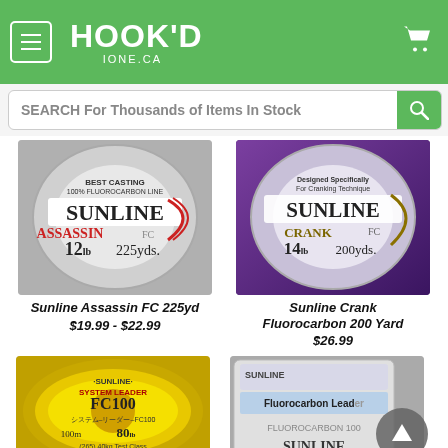[Figure (logo): Hook'd fishing store logo with menu hamburger button and cart icon on green header]
[Figure (screenshot): Search bar reading SEARCH For Thousands of Items In Stock with green search button]
[Figure (photo): Sunline Assassin FC 225yd fluorocarbon fishing line spool, red/silver/white design]
Sunline Assassin FC 225yd
$19.99 - $22.99
[Figure (photo): Sunline Crank FC 200yds fluorocarbon fishing line spool, purple/white design, 14lb]
Sunline Crank Fluorocarbon 200 Yard
$26.99
[Figure (photo): Sunline System Leader FC100 80lb fluorocarbon leader spool, orange design, 100m]
[Figure (photo): Sunline Fluorocarbon Leader fishing line package, grey/silver design]